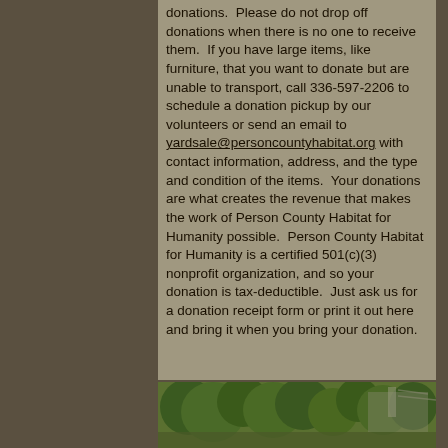donations.  Please do not drop off donations when there is no one to receive them.  If you have large items, like furniture, that you want to donate but are unable to transport, call 336-597-2206 to schedule a donation pickup by our volunteers or send an email to yardsale@personcountyhabitat.org with contact information, address, and the type and condition of the items.  Your donations are what creates the revenue that makes the work of Person County Habitat for Humanity possible.  Person County Habitat for Humanity is a certified 501(c)(3) nonprofit organization, and so your donation is tax-deductible.  Just ask us for a donation receipt form or print it out here and bring it when you bring your donation.
[Figure (photo): Outdoor photo showing green trees and what appears to be a building or structure in the background]